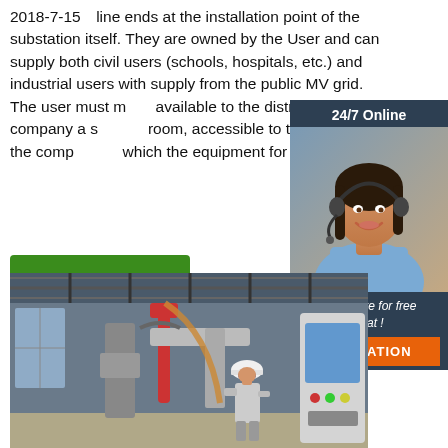2018-7-15  line ends at the installation point of the substation itself. They are owned by the User and can supply both civil users (schools, hospitals, etc.) and industrial users with supply from the public MV grid. The user must make available to the distributing company a suitable room, accessible to the staff of the company, in which the equipment for ...
[Figure (other): 24/7 Online chat sidebar with woman wearing headset, dark blue background, orange QUOTATION button]
[Figure (photo): Industrial factory floor with CNC machinery, worker in white hard hat and safety glasses operating equipment]
Get Price